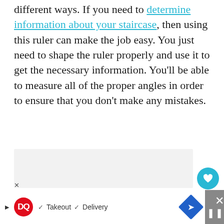different ways. If you need to determine information about your staircase, then using this ruler can make the job easy. You just need to shape the ruler properly and use it to get the necessary information. You'll be able to measure all of the proper angles in order to ensure that you don't make any mistakes.
[Figure (other): Gray placeholder advertisement area with floating heart and share buttons on the right side]
DQ ✓ Takeout ✓ Delivery [ad bar]